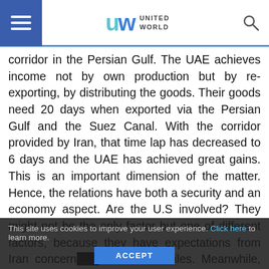United World
corridor in the Persian Gulf. The UAE achieves income not by own production but by re-exporting, by distributing the goods. Their goods need 20 days when exported via the Persian Gulf and the Suez Canal. With the corridor provided by Iran, that time lap has decreased to 6 days and the UAE has achieved great gains. This is an important dimension of the matter. Hence, the relations have both a security and an economy aspect. Are the U.S involved? They might not be the only factor but one of different factors, because they have expectations from Iran concerning ballistic missiles. Meanwhile, Saudi Arabia and China are developing jointly ballistic missiles too, as you know. The U.S. tells Iran not only to stop nuclear but also ballistic
This site uses cookies to improve your user experience. Click here to learn more. ACCEPT